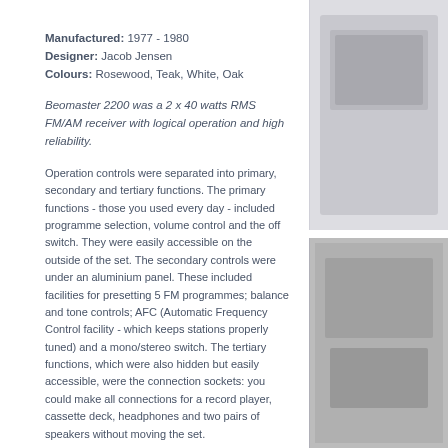Manufactured: 1977 - 1980
Designer: Jacob Jensen
Colours: Rosewood, Teak, White, Oak
Beomaster 2200 was a 2 x 40 watts RMS FM/AM receiver with logical operation and high reliability.
Operation controls were separated into primary, secondary and tertiary functions. The primary functions - those you used every day - included programme selection, volume control and the off switch. They were easily accessible on the outside of the set. The secondary controls were under an aluminium panel. These included facilities for presetting 5 FM programmes; balance and tone controls; AFC (Automatic Frequency Control facility - which keeps stations properly tuned) and a mono/stereo switch. The tertiary functions, which were also hidden but easily accessible, were the connection sockets: you could make all connections for a record player, cassette deck, headphones and two pairs of speakers without moving the set.
Beomaster 2200 had a modular chassis. The modules were connected by wire-wrapping - a construction method that enhanced the product's quality and reliability. This technique was originally adopted from computer production. The
[Figure (photo): Photo of Beomaster 2200 device, top right area]
[Figure (photo): Photo of Beomaster 2200 device, bottom right area]